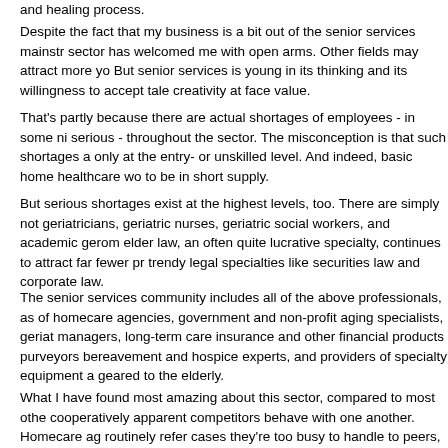and healing process.
Despite the fact that my business is a bit out of the senior services mainstr sector has welcomed me with open arms. Other fields may attract more yo But senior services is young in its thinking and its willingness to accept tale creativity at face value.
That's partly because there are actual shortages of employees - in some ni serious - throughout the sector. The misconception is that such shortages a only at the entry- or unskilled level. And indeed, basic home healthcare wo to be in short supply.
But serious shortages exist at the highest levels, too. There are simply not geriatricians, geriatric nurses, geriatric social workers, and academic gerom elder law, an often quite lucrative specialty, continues to attract far fewer pr trendy legal specialties like securities law and corporate law.
The senior services community includes all of the above professionals, as of homecare agencies, government and non-profit aging specialists, geriat managers, long-term care insurance and other financial products purveyors bereavement and hospice experts, and providers of specialty equipment a geared to the elderly.
What I have found most amazing about this sector, compared to most othe cooperatively apparent competitors behave with one another. Homecare ag routinely refer cases they're too busy to handle to peers, for instance. And extraordinary openness to cooperative joint ventures of every kind.